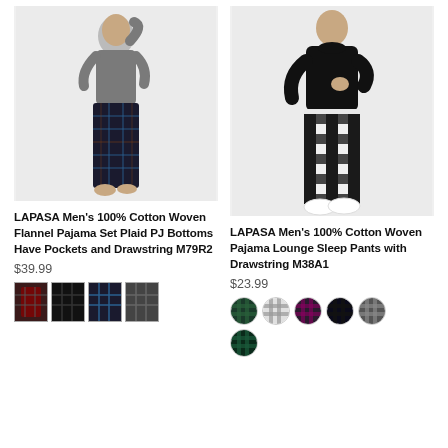[Figure (photo): Man wearing gray long-sleeve shirt and dark plaid pajama pants with pockets]
[Figure (photo): Man wearing black sweatshirt and black/white plaid pajama lounge pants]
LAPASA Men's 100% Cotton Woven Flannel Pajama Set Plaid PJ Bottoms Have Pockets and Drawstring M79R2
$39.99
[Figure (photo): Four small color variant thumbnails of pajama set]
LAPASA Men's 100% Cotton Woven Pajama Lounge Sleep Pants with Drawstring M38A1
$23.99
[Figure (photo): Six color swatch circles for pajama pants variants]